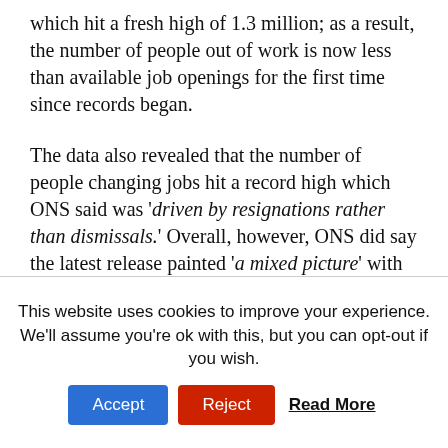which hit a fresh high of 1.3 million; as a result, the number of people out of work is now less than available job openings for the first time since records began.
The data also revealed that the number of people changing jobs hit a record high which ONS said was 'driven by resignations rather than dismissals.' Overall, however, ONS did say the latest release painted 'a mixed picture' with total employment, although up on the quarter, still below its pre-pandemic level.
This website uses cookies to improve your experience. We'll assume you're ok with this, but you can opt-out if you wish. Accept Reject Read More